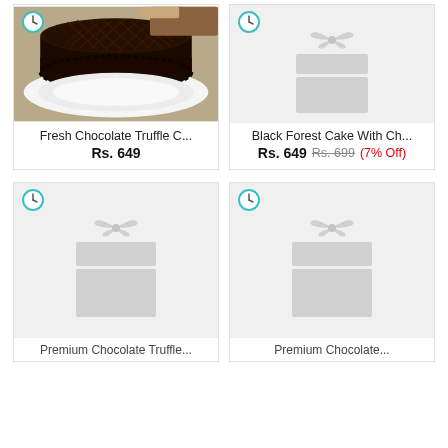[Figure (photo): Fresh Chocolate Truffle Cake with dark chocolate lattice pattern on top, on a white plate]
Fresh Chocolate Truffle C...
Rs. 649
[Figure (illustration): Placeholder gift box icon for Black Forest Cake With Ch...]
Black Forest Cake With Ch...
Rs. 649  Rs. 699  (7% Off)
[Figure (illustration): Placeholder gift box icon for Premium Chocolate Truffle]
Premium Chocolate Truffle...
[Figure (illustration): Placeholder gift box icon for Premium Chocolate...]
Premium Chocolate...